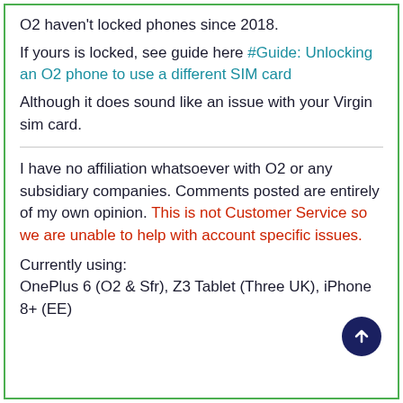O2 haven't locked phones since 2018.
If yours is locked, see guide here #Guide: Unlocking an O2 phone to use a different SIM card
Although it does sound like an issue with your Virgin sim card.
I have no affiliation whatsoever with O2 or any subsidiary companies. Comments posted are entirely of my own opinion. This is not Customer Service so we are unable to help with account specific issues.
Currently using:
OnePlus 6 (O2 & Sfr), Z3 Tablet (Three UK), iPhone 8+ (EE)